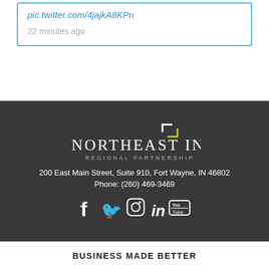pic.twitter.com/4jajkA8KPn
22 minutes ago
[Figure (logo): Northeast Indiana Regional Partnership logo with corner bracket graphic in white and yellow-green on dark background]
200 East Main Street, Suite 910, Fort Wayne, IN 46802
Phone: (260) 469-3469
[Figure (infographic): Social media icons: Facebook, Twitter, Instagram, LinkedIn, YouTube]
BUSINESS MADE BETTER